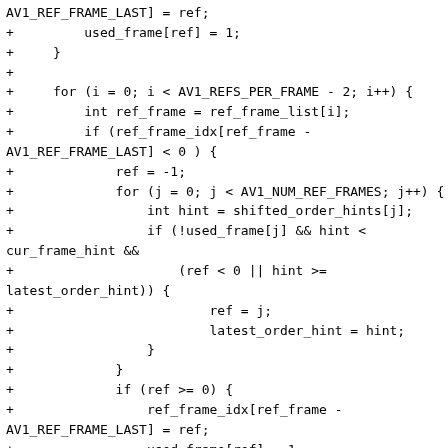AV1_REF_FRAME_LAST] = ref;
+         used_frame[ref] = 1;
+     }
+
+     for (i = 0; i < AV1_REFS_PER_FRAME - 2; i++) {
+         int ref_frame = ref_frame_list[i];
+         if (ref_frame_idx[ref_frame -
AV1_REF_FRAME_LAST] < 0 ) {
+             ref = -1;
+             for (j = 0; j < AV1_NUM_REF_FRAMES; j++) {
+                 int hint = shifted_order_hints[j];
+                 if (!used_frame[j] && hint <
cur_frame_hint &&
+                     (ref < 0 || hint >=
latest_order_hint)) {
+                         ref = j;
+                         latest_order_hint = hint;
+                 }
+             }
+             if (ref >= 0) {
+                 ref_frame_idx[ref_frame -
AV1_REF_FRAME_LAST] = ref;
+                 used_frame[ref] = 1;
+             }
+         }
+     }
+
+     ref = -1;
+     for (i = 0; i < AV1_NUM_REF_FRAMES; i++) {
+         int hint = shifted_order_hints[i];